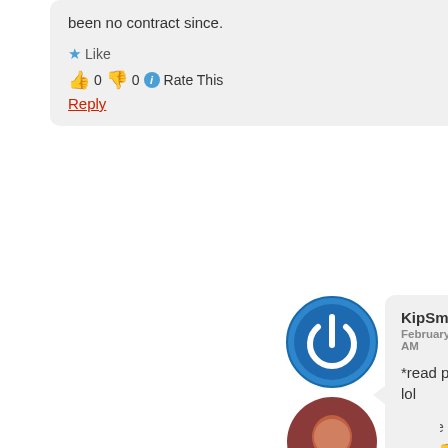been no contract since.
Like
👍 0 👎 0 ℹ Rate This
Reply
[Figure (illustration): Blue circular power button avatar icon]
KipSmithers
February 7, 2013 at 12:30 AM
*read post above*
lol
Like
👍 0 👎 0 ℹ Rate This
[Figure (photo): Round avatar photo of a person with reddish appearance]